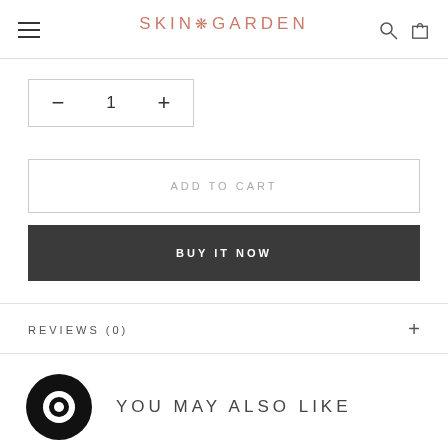SKIN GARDEN
- 1 +
ADD TO CART
BUY IT NOW
REVIEWS (0)
YOU MAY ALSO LIKE